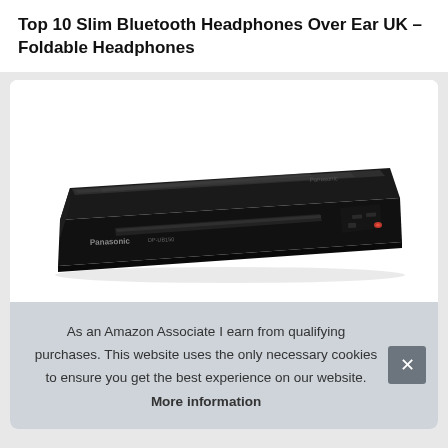Top 10 Slim Bluetooth Headphones Over Ear UK – Foldable Headphones
[Figure (photo): A black Panasonic Blu-ray disc player, slim form factor, viewed from the front at a slight angle showing the disc slot and control buttons.]
As an Amazon Associate I earn from qualifying purchases. This website uses the only necessary cookies to ensure you get the best experience on our website. More information